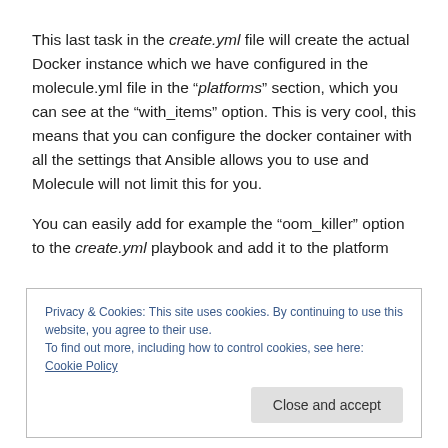This last task in the create.yml file will create the actual Docker instance which we have configured in the molecule.yml file in the “platforms” section, which you can see at the “with_items” option. This is very cool, this means that you can configure the docker container with all the settings that Ansible allows you to use and Molecule will not limit this for you.
You can easily add for example the “oom_killer” option to the create.yml playbook and add it to the platform
Privacy & Cookies: This site uses cookies. By continuing to use this website, you agree to their use.
To find out more, including how to control cookies, see here: Cookie Policy